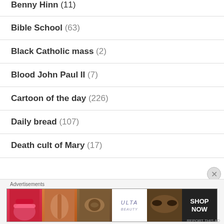Benny Hinn (11)
Bible School (63)
Black Catholic mass (2)
Blood John Paul II (7)
Cartoon of the day (226)
Daily bread (107)
Death cult of Mary (17)
[Figure (photo): ULTA beauty advertisement banner with makeup imagery and 'SHOP NOW' call to action]